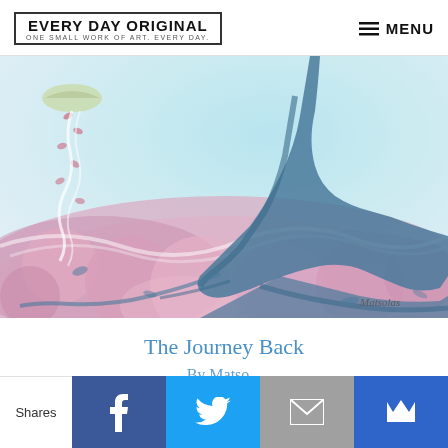EVERY DAY ORIGINAL | ONE SMALL WORK OF ART. EVERY DAY. | MENU
[Figure (illustration): Painting of a gnarled blue tree trunk with roots spreading across a field of pink/rose colored foliage or flowers, with a small boat or vessel in the upper left and scattered petals. Artist signature 'Matsolas' visible in lower right.]
The Journey Back
By Matso...
Shares